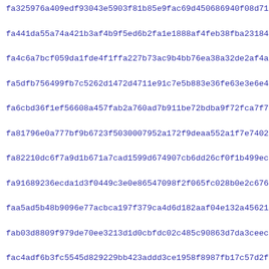fa325976a409edf93043e5903f81b85e9fac69d450686940f08d718569143
fa441da55a74a421b3af4b9f5ed6b2fa1e1888af4feb38fba23184ce3daaf
fa4c6a7bcf059da1fde4f1ffa227b73ac9b4bb76ea38a32de2af4a397fd71
fa5dfb756499fb7c5262d1472d4711e91c7e5b883e36fe63e3e6e4bcf798b
fa6cbd36f1ef56608a457fab2a760ad7b911be72bdba9f72fca7f7009ae40
fa81796e0a777bf9b6723f5030007952a172f9deaa552a1f7e740250fef6a
fa82210dc6f7a9d1b671a7cad1599d674907cb6dd26cf0f1b499ec8d0217d
fa91689236ecda1d3f0449c3e0e86547098f2f065fc028b0e2c67622757ce
faa5ad5b48b9096e77acbca197f379ca4d6d182aaf04e132a45621e17e56a
fab03d8809f979de70ee3213d1d0cbfdc02c485c90863d7da3ceec4b2f897
fac4adf6b3fc5545d829229bb423addd3ce1958f8987fb17c57d2fe266439